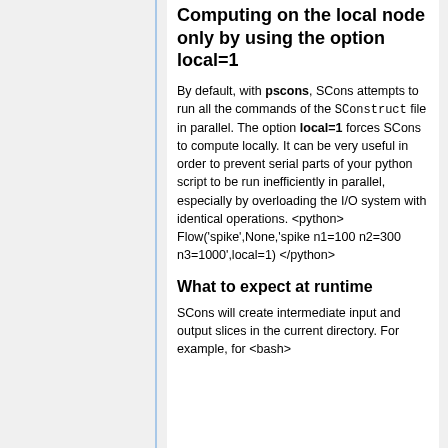Computing on the local node only by using the option local=1
By default, with pscons, SCons attempts to run all the commands of the SConstruct file in parallel. The option local=1 forces SCons to compute locally. It can be very useful in order to prevent serial parts of your python script to be run inefficiently in parallel, especially by overloading the I/O system with identical operations. <python> Flow('spike',None,'spike n1=100 n2=300 n3=1000',local=1) </python>
What to expect at runtime
SCons will create intermediate input and output slices in the current directory. For example, for <bash>